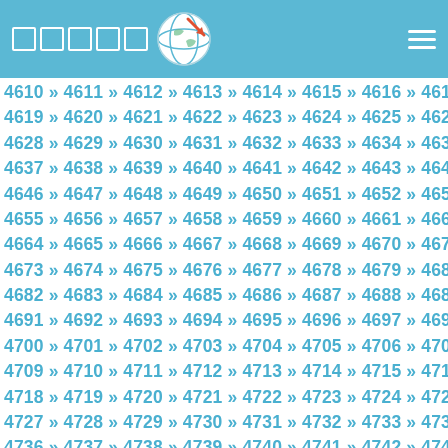Navigation header with logo squares and globe icon and hamburger menu
4610 » 4611 » 4612 » 4613 » 4614 » 4615 » 4616 » 4617 » 4618 » 4619 » 4620 » 4621 » 4622 » 4623 » 4624 » 4625 » 4626 » 4627 » 4628 » 4629 » 4630 » 4631 » 4632 » 4633 » 4634 » 4635 » 4636 » 4637 » 4638 » 4639 » 4640 » 4641 » 4642 » 4643 » 4644 » 4645 » 4646 » 4647 » 4648 » 4649 » 4650 » 4651 » 4652 » 4653 » 4654 » 4655 » 4656 » 4657 » 4658 » 4659 » 4660 » 4661 » 4662 » 4663 » 4664 » 4665 » 4666 » 4667 » 4668 » 4669 » 4670 » 4671 » 4672 » 4673 » 4674 » 4675 » 4676 » 4677 » 4678 » 4679 » 4680 » 4681 » 4682 » 4683 » 4684 » 4685 » 4686 » 4687 » 4688 » 4689 » 4690 » 4691 » 4692 » 4693 » 4694 » 4695 » 4696 » 4697 » 4698 » 4699 » 4700 » 4701 » 4702 » 4703 » 4704 » 4705 » 4706 » 4707 » 4708 » 4709 » 4710 » 4711 » 4712 » 4713 » 4714 » 4715 » 4716 » 4717 » 4718 » 4719 » 4720 » 4721 » 4722 » 4723 » 4724 » 4725 » 4726 » 4727 » 4728 » 4729 » 4730 » 4731 » 4732 » 4733 » 4734 » 4735 » 4736 » 4737 » 4738 » 4739 » 4740 » 4741 » 4742 » 4743 » 4744 » 4745 » 4746 » 4747 » 4748 » 4749 » 4750 » 4751 » 4752 » 4753 » 4754 » 4755 » 4756 » 4757 » 4758 » 4759 » 4760 » 4761 » 4762 » 4763 » 4764 » 4765 » 4766 » 4767 » 4768 » 4769 » 4770 » 4771 » 4772 » 4773 » 4774 » 4775 » 4776 » 4777 » 4778 » 4779 » 4780 » 4781 » 4782 » 4783 » 4784 » 4785 » 4786 » 4787 » 4788 » 4789 » 4790 » 4791 » 4792 » 4793 » 4794 » 4795 » 4796 » 4797 » 4798